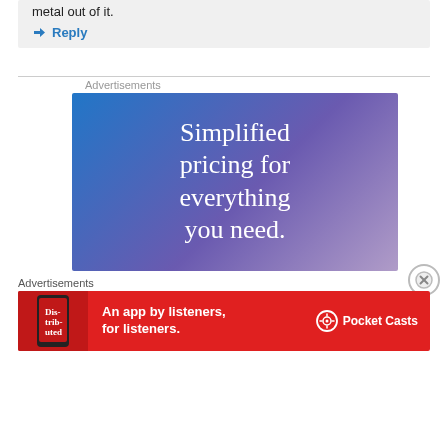metal out of it.
↳ Reply
Advertisements
[Figure (illustration): Advertisement banner with blue-to-purple gradient background and white serif text reading 'Simplified pricing for everything you need.']
Advertisements
[Figure (illustration): Pocket Casts advertisement on red background with text 'An app by listeners, for listeners.' and Pocket Casts logo with phone image]